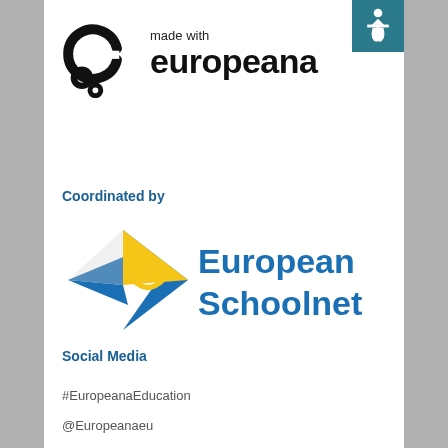[Figure (logo): Made with Europeana logo — stylized black 'e' symbol with circular nodes, followed by text 'made with' and 'europeana' in bold]
[Figure (logo): European Schoolnet logo — blue star shape with gold/yellow human figure in center, text 'European Schoolnet' in blue]
Coordinated by
Social Media
#EuropeanaEducation
@Europeanaeu